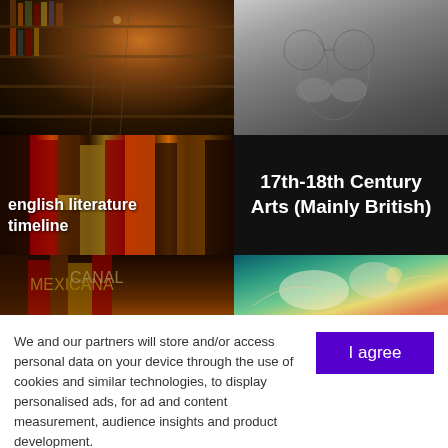[Figure (photo): Library interior with tall bookshelves and ladders, warm dark lighting]
[Figure (photo): Black and white close-up of a person's face, showing nose and glasses]
[Figure (photo): Stack of old colorful book spines with text 'english literature timeline']
english literature timeline
17th-18th Century Arts (Mainly British)
[Figure (photo): Painting depicting figures in a romantic/mythological scene with teal and gold tones]
We and our partners will store and/or access personal data on your device through the use of cookies and similar technologies, to display personalised ads, for ad and content measurement, audience insights and product development.
By clicking 'I agree,' you consent to this, or you can manage your preferences.